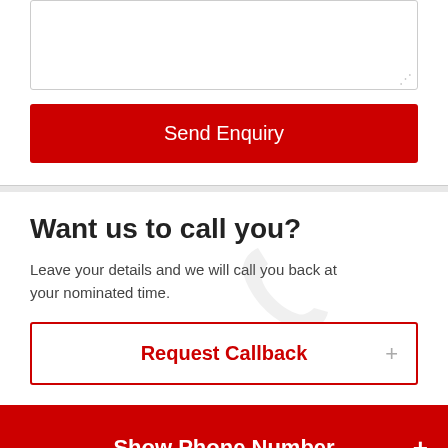[Figure (screenshot): Textarea input box (empty, white background with border and resize handle)]
Send Enquiry
Want us to call you?
Leave your details and we will call you back at your nominated time.
Request Callback +
Show Phone Number +
Related Ads